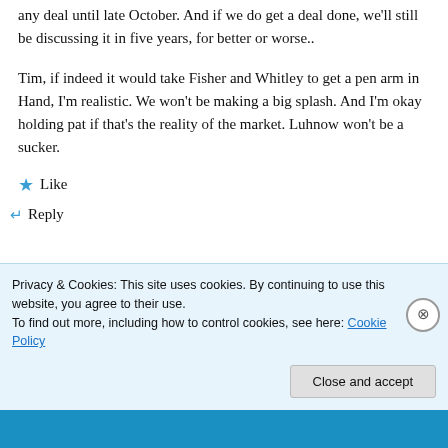any deal until late October. And if we do get a deal done, we'll still be discussing it in five years, for better or worse..
Tim, if indeed it would take Fisher and Whitley to get a pen arm in Hand, I'm realistic. We won't be making a big splash. And I'm okay holding pat if that's the reality of the market. Luhnow won't be a sucker.
★ Like
↵ Reply
Privacy & Cookies: This site uses cookies. By continuing to use this website, you agree to their use.
To find out more, including how to control cookies, see here: Cookie Policy
Close and accept